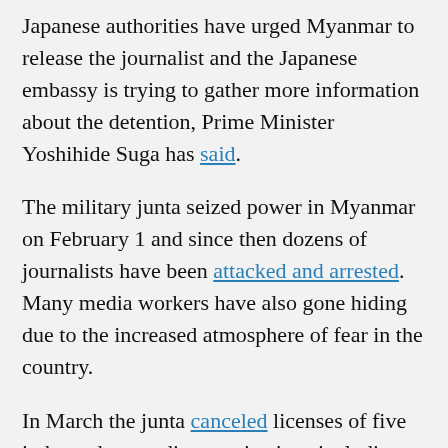Japanese authorities have urged Myanmar to release the journalist and the Japanese embassy is trying to gather more information about the detention, Prime Minister Yoshihide Suga has said.
The military junta seized power in Myanmar on February 1 and since then dozens of journalists have been attacked and arrested. Many media workers have also gone hiding due to the increased atmosphere of fear in the country.
In March the junta canceled licenses of five independent media organizations including Mizzima, Democratic Voice of Burma (DVB, Khit Thit Media, Myanmar Now and TDay